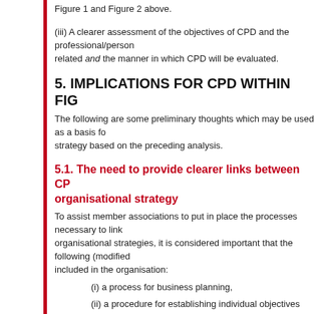Figure 1 and Figure 2 above.
(iii) A clearer assessment of the objectives of CPD and the professional/personal goals to which these are related and the manner in which CPD will be evaluated.
5. IMPLICATIONS FOR CPD WITHIN FIG
The following are some preliminary thoughts which may be used as a basis for developing a CPD strategy based on the preceding analysis.
5.1. The need to provide clearer links between CPD and organisational strategy
To assist member associations to put in place the processes necessary to link individual CPD to organisational strategies, it is considered important that the following (modified from CIPD) are included in the organisation:
(i) a process for business planning,
(ii) a procedure for establishing individual objectives and reviewing these (often referred to as a performance appraisal scheme) and
(iii) a system for recording career and professional development (sometimes called a Personal Development Plan (PDP)).